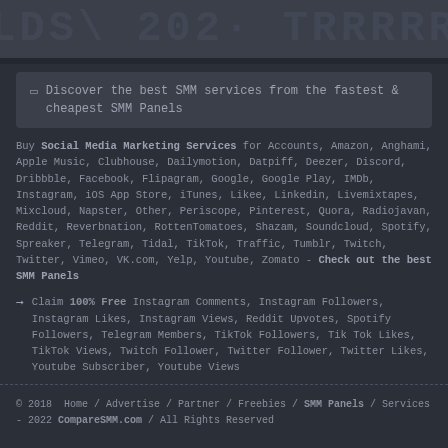[Figure (illustration): Top banner with large watermark-style text showing website/brand name in dark grey tones]
Discover the best SMM services from the fastest & cheapest SMM Panels
Buy Social Media Marketing Services for Accounts, Amazon, Anghami, Apple Music, Clubhouse, Dailymotion, Datpiff, Deezer, Discord, Dribbble, Facebook, Flipagram, Google, Google Play, IMDb, Instagram, iOS App Store, iTunes, Likee, Linkedin, Livemixtapes, Mixcloud, Napster, Other, Periscope, Pinterest, Quora, Radiojavan, Reddit, Reverbnation, RottenTomatoes, Shazam, Soundcloud, Spotify, Spreaker, Telegram, Tidal, TikTok, Traffic, Tumblr, Twitch, Twitter, Vimeo, VK.com, Yelp, Youtube, Zomato - Check out the best SMM Panels
Claim 100% Free Instagram Comments, Instagram Followers, Instagram Likes, Instagram Views, Reddit Upvotes, Spotify Followers, Telegram Members, TikTok Followers, Tik Tok Likes, TikTok Views, Twitch Follower, Twitter Follower, Twitter Likes, Youtube Subscriber, Youtube Views
© 2018 Home / Advertise / Partner / Freebies / SMM Panels / Services - 2022 CompareSMM.com / All Rights Reserved